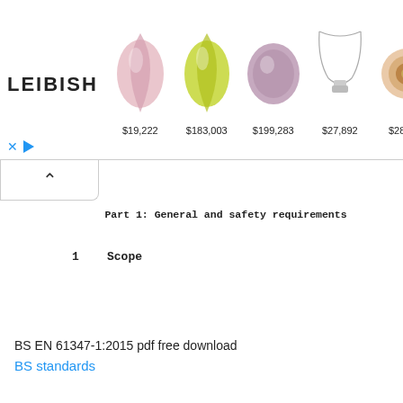[Figure (other): LEIBISH advertisement banner showing 5 gemstone/jewelry items with prices: $19,222, $183,003, $199,283, $27,892, $28,500]
Part 1: General and safety requirements
1   Scope
BS EN 61347-1:2015 pdf free download
BS standards